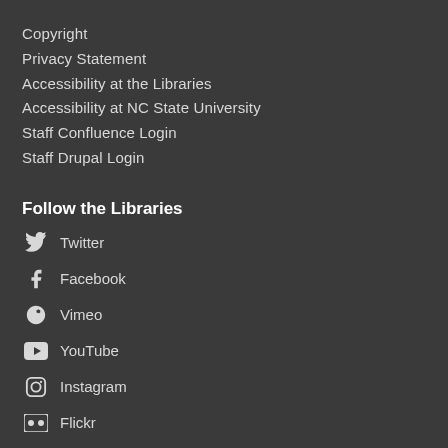Copyright
Privacy Statement
Accessibility at the Libraries
Accessibility at NC State University
Staff Confluence Login
Staff Drupal Login
Follow the Libraries
Twitter
Facebook
Vimeo
YouTube
Instagram
Flickr
Libraries' news